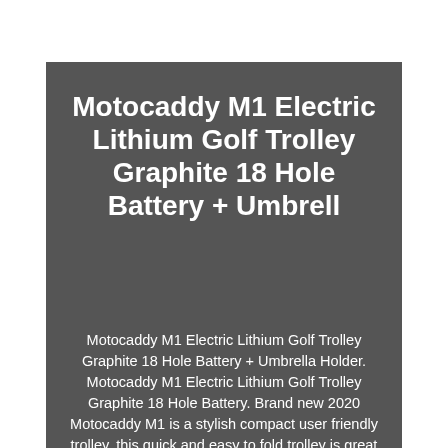Motocaddy M1 Electric Lithium Golf Trolley Graphite 18 Hole Battery + Umbrell
Motocaddy M1 Electric Lithium Golf Trolley Graphite 18 Hole Battery + Umbrella Holder. Motocaddy M1 Electric Lithium Golf Trolley Graphite 18 Hole Battery. Brand new 2020 Motocaddy M1 is a stylish compact user friendly trolley, this quick and easy to fold trolley is great to save on storage space with its small compact design. Comes packed with great features like anti glare LCD display, 9 speed settings, USB charging port, ADC up to